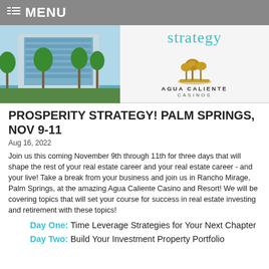MENU
[Figure (photo): Hotel building with palm trees (Agua Caliente Casino and Resort, Rancho Mirage, Palm Springs) and Agua Caliente Casinos logo with cursive 'strategy' text]
PROSPERITY STRATEGY! PALM SPRINGS, NOV 9-11
Aug 16, 2022
Join us this coming November 9th through 11th for three days that will shape the rest of your real estate career and your real estate career - and your live! Take a break from your business and join us in Rancho Mirage, Palm Springs, at the amazing Agua Caliente Casino and Resort! We will be covering topics that will set your course for success in real estate investing and retirement with these topics!
Day One: Time Leverage Strategies for Your Next Chapter
Day Two: Build Your Investment Property Portfolio